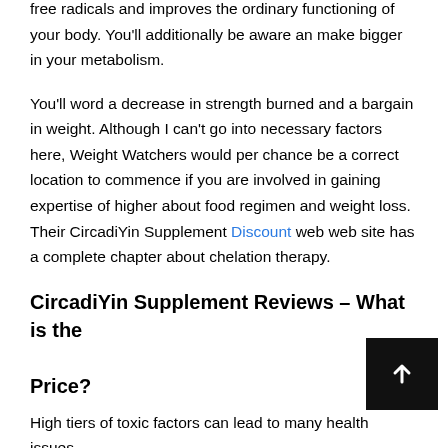free radicals and improves the ordinary functioning of your body. You'll additionally be aware an make bigger in your metabolism.
You'll word a decrease in strength burned and a bargain in weight. Although I can't go into necessary factors here, Weight Watchers would per chance be a correct location to commence if you are involved in gaining expertise of higher about food regimen and weight loss. Their CircadiYin Supplement Discount web web site has a complete chapter about chelation therapy.
CircadiYin Supplement Reviews – What is the Price?
High tiers of toxic factors can lead to many health issues,